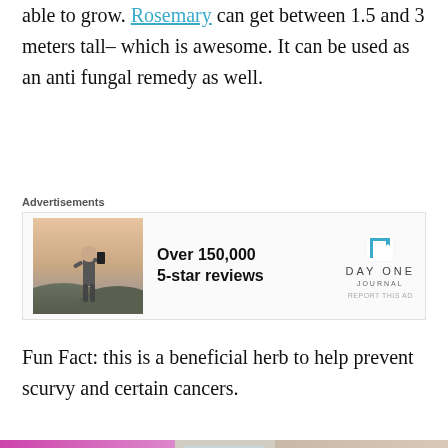able to grow. Rosemary can get between 1.5 and 3 meters tall– which is awesome. It can be used as an anti fungal remedy as well.
[Figure (other): Advertisement banner featuring a person photographing a landscape with Day One Journal app promotion. Text reads: Over 150,000 5-star reviews]
Fun Fact: this is a beneficial herb to help prevent scurvy and certain cancers.
[Figure (photo): Close-up photograph of rosemary plants growing indoors near a window, showing needle-like green leaves. Image is divided into two sections with a pink/red light on the left side.]